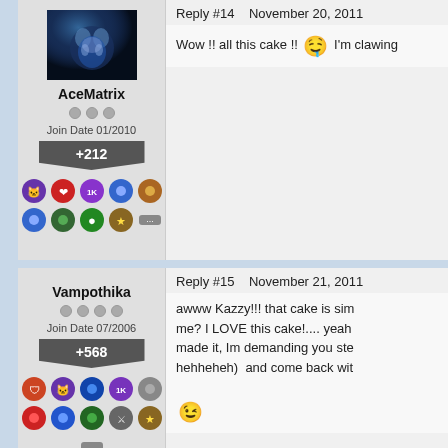Reply #14    November 20, 2011
[Figure (photo): Avatar image of AceMatrix with blue/dark fantasy background]
AceMatrix
Join Date 01/2010
+212
Wow !! all this cake !!  I'm clawing
Reply #15    November 21, 2011
[Figure (photo): Avatar image of Vampothika with dark gothic style]
Vampothika
Join Date 07/2006
+568
awww Kazzy!!! that cake is sim me? I LOVE this cake!.... yeah made it, Im demanding you ste hehheheh)  and come back wit